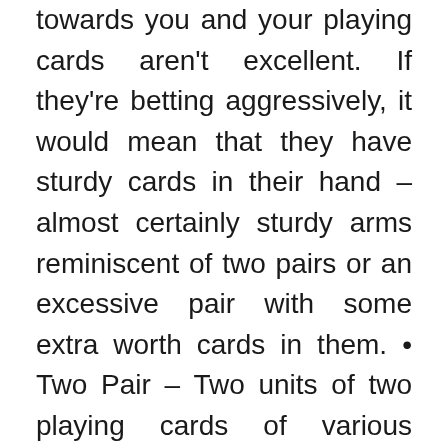towards you and your playing cards aren't excellent. If they're betting aggressively, it would mean that they have sturdy cards in their hand – almost certainly sturdy arms reminiscent of two pairs or an excessive pair with some extra worth cards in them. • Two Pair – Two units of two playing cards of various values.

For example, two tens and two fives. [↑ TOP] Home – Three playing cards with the same worth and two playing cards with the same value. 188BET The city is tranquil with elegant streets stuffed with white painted tiled homes